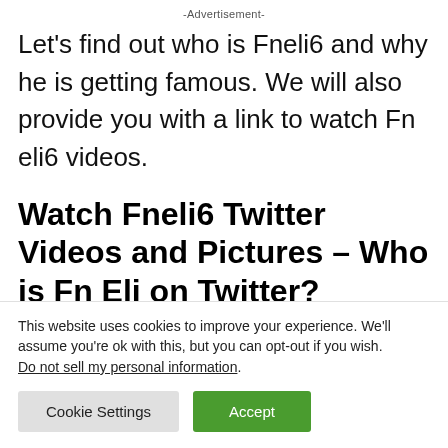-Advertisement-
Let's find out who is Fneli6 and why he is getting famous. We will also provide you with a link to watch Fn eli6 videos.
Watch Fneli6 Twitter Videos and Pictures – Who is Fn Eli on Twitter?
This website uses cookies to improve your experience. We'll assume you're ok with this, but you can opt-out if you wish.
Do not sell my personal information.